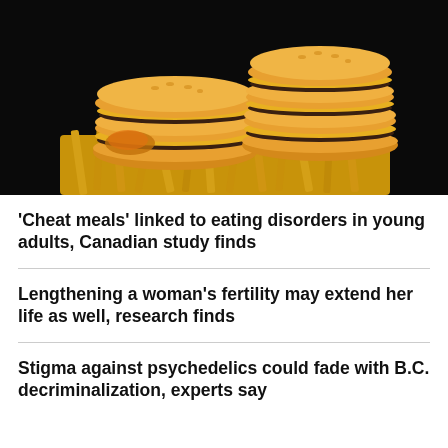[Figure (photo): Stacked cheeseburgers and french fries on a dark background — a pile of multiple hamburgers stacked high on a bed of french fries, with melted cheese and dark patties visible, photographed against a black background.]
'Cheat meals' linked to eating disorders in young adults, Canadian study finds
Lengthening a woman's fertility may extend her life as well, research finds
Stigma against psychedelics could fade with B.C. decriminalization, experts say